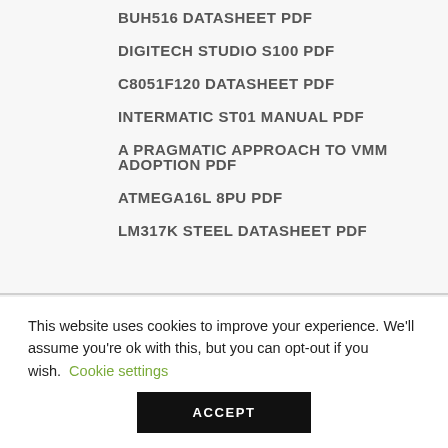BUH516 DATASHEET PDF
DIGITECH STUDIO S100 PDF
C8051F120 DATASHEET PDF
INTERMATIC ST01 MANUAL PDF
A PRAGMATIC APPROACH TO VMM ADOPTION PDF
ATMEGA16L 8PU PDF
LM317K STEEL DATASHEET PDF
This website uses cookies to improve your experience. We'll assume you're ok with this, but you can opt-out if you wish. Cookie settings
ACCEPT